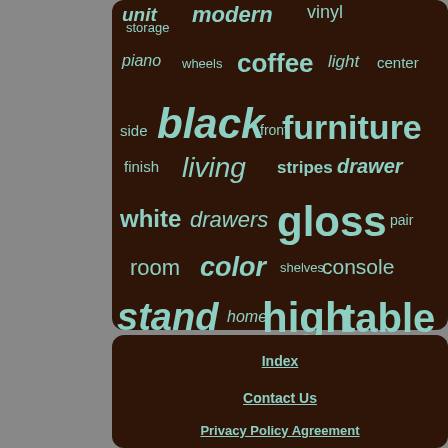[Figure (infographic): Word cloud on dark brown background featuring furniture-related terms. Largest words: black, furniture, gloss, high, table, cabinet, stand. Medium words: coffee, living, drawers, color, console. Smaller words: unit, modern, vinyl, storage, piano, wheels, light, center, side, front, finish, stripes, drawer, white, pair, room, shelves, chevy, lights, paint, entertainment, speakers, home.]
Index
Contact Us
Privacy Policy Agreement